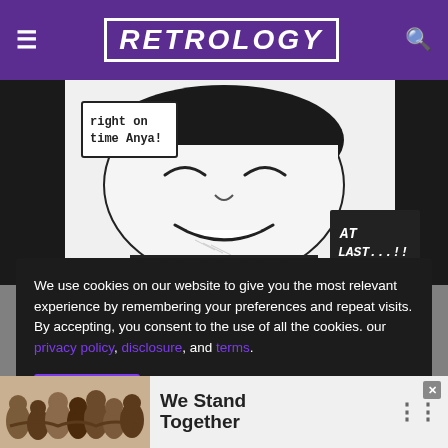RETROLOGY
[Figure (illustration): Manga-style comic panel showing a smiling character with speech bubbles reading 'right on time Anya!' and 'AT LAST...!!']
We use cookies on our website to give you the most relevant experience by remembering your preferences and repeat visits. By accepting, you consent to the use of all the cookies. our privacy policy, disclosure, and terms.
The world shall know pain
[Figure (photo): Partial view of a map or landscape image visible below the cookie consent overlay]
[Figure (photo): Advertisement banner at bottom showing group of people from behind with text 'We Stand Together']